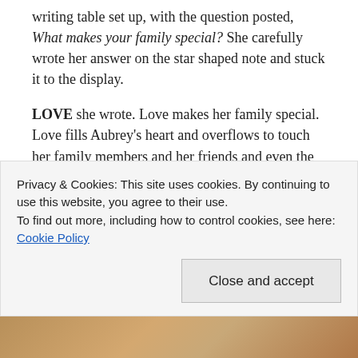writing table set up, with the question posted, What makes your family special? She carefully wrote her answer on the star shaped note and stuck it to the display.
LOVE she wrote. Love makes her family special. Love fills Aubrey's heart and overflows to touch her family members and her friends and even the kind clerk she just met at Claire's. Love is woven into her very soul. Aubrey receives it, accepts it and just as easily offers it to others.
Happy birthday, a few days early, sweet child. I
Privacy & Cookies: This site uses cookies. By continuing to use this website, you agree to their use.
To find out more, including how to control cookies, see here: Cookie Policy
Close and accept
[Figure (photo): Partial view of a photo strip at the bottom of the page, brownish/tan tones visible]